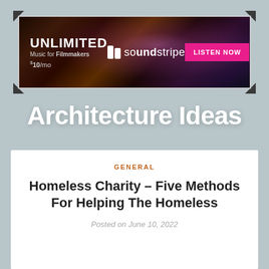[Figure (illustration): Soundstripe advertisement banner with dark starfield/galaxy background. Text: UNLIMITED Music for Filmmakers $10/mo. Soundstripe logo in center. Pink LISTEN NOW button on right.]
Architecture Ideas
GENERAL
Homeless Charity – Five Methods For Helping The Homeless
Posted on June 10, 2022